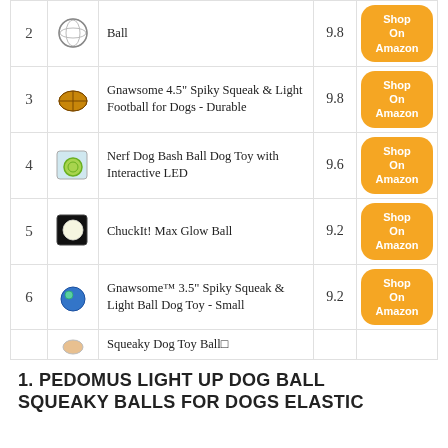| # | Image | Product | Score | Link |
| --- | --- | --- | --- | --- |
| 2 | [img] | Ball | 9.8 | Shop On Amazon |
| 3 | [img] | Gnawsome 4.5" Spiky Squeak & Light Football for Dogs - Durable | 9.8 | Shop On Amazon |
| 4 | [img] | Nerf Dog Bash Ball Dog Toy with Interactive LED | 9.6 | Shop On Amazon |
| 5 | [img] | ChuckIt! Max Glow Ball | 9.2 | Shop On Amazon |
| 6 | [img] | Gnawsome™ 3.5" Spiky Squeak & Light Ball Dog Toy - Small | 9.2 | Shop On Amazon |
|  | [img] | Squeaky Dog Toy Ball□ |  |  |
1. PEDOMUS LIGHT UP DOG BALL SQUEAKY BALLS FOR DOGS ELASTIC